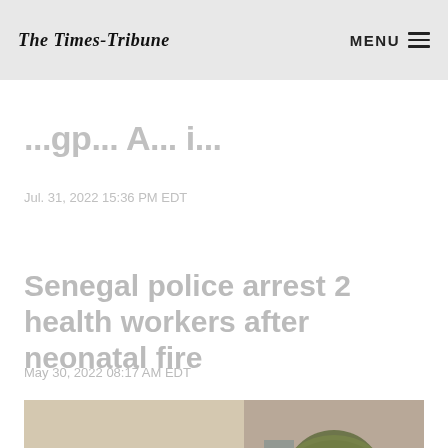The Times-Tribune | MENU
Senegal police arrest 2 health workers after neonatal fire
Jul. 31, 2022 15:36 PM EDT
Senegal police arrest 2 health workers after neonatal fire
May 30, 2022 08:17 AM EDT
[Figure (photo): Photo showing people, partially visible at the bottom of the page]